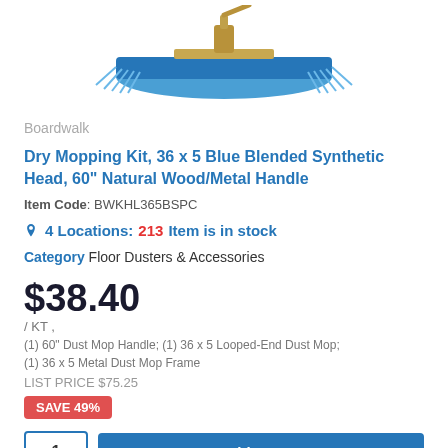[Figure (photo): Blue dry mop head with metal frame and handle connector, viewed from above at an angle]
Boardwalk
Dry Mopping Kit, 36 x 5 Blue Blended Synthetic Head, 60" Natural Wood/Metal Handle
Item Code: BWKHL365BSPC
4 Locations: 213 Item is in stock
Category Floor Dusters & Accessories
$38.40
/ KT ,
(1) 60" Dust Mop Handle; (1) 36 x 5 Looped-End Dust Mop; (1) 36 x 5 Metal Dust Mop Frame
LIST PRICE $75.25
SAVE 49%
1   Add to cart